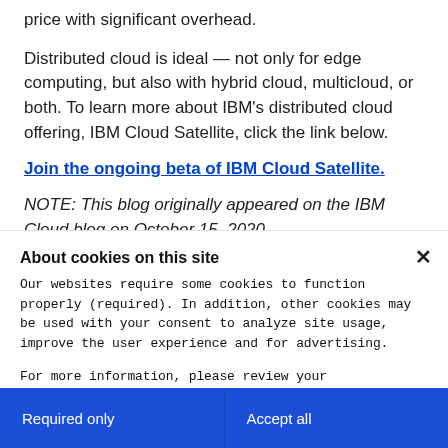price with significant overhead.
Distributed cloud is ideal — not only for edge computing, but also with hybrid cloud, multicloud, or both. To learn more about IBM's distributed cloud offering, IBM Cloud Satellite, click the link below.
Join the ongoing beta of IBM Cloud Satellite.
NOTE: This blog originally appeared on the IBM Cloud blog on October 15, 2020
About cookies on this site
Our websites require some cookies to function properly (required). In addition, other cookies may be used with your consent to analyze site usage, improve the user experience and for advertising.
For more information, please review your Cookie preferences options and IBM's privacy statement.
Required only
Accept all